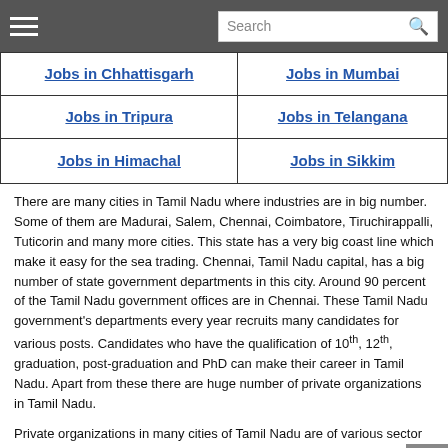Search
| Jobs in Chhattisgarh | Jobs in Mumbai |
| Jobs in Tripura | Jobs in Telangana |
| Jobs in Himachal | Jobs in Sikkim |
There are many cities in Tamil Nadu where industries are in big number. Some of them are Madurai, Salem, Chennai, Coimbatore, Tiruchirappalli, Tuticorin and many more cities. This state has a very big coast line which make it easy for the sea trading. Chennai, Tamil Nadu capital, has a big number of state government departments in this city. Around 90 percent of the Tamil Nadu government offices are in Chennai. These Tamil Nadu government's departments every year recruits many candidates for various posts. Candidates who have the qualification of 10th, 12th, graduation, post-graduation and PhD can make their career in Tamil Nadu. Apart from these there are huge number of private organizations in Tamil Nadu.
Private organizations in many cities of Tamil Nadu are of various sector such as information technology, telecommunication, defense and security etc. Every year many candidates get job in Tamil Nadu